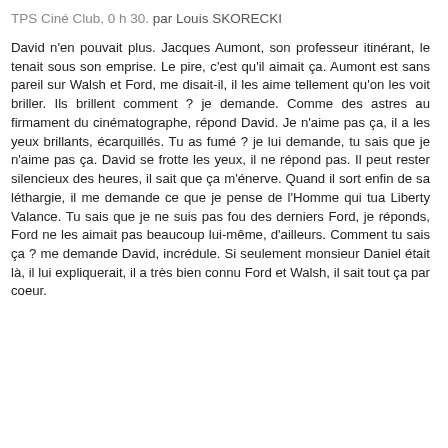TPS Ciné Club, 0 h 30.
par Louis SKORECKI
David n'en pouvait plus. Jacques Aumont, son professeur itinérant, le tenait sous son emprise. Le pire, c'est qu'il aimait ça. Aumont est sans pareil sur Walsh et Ford, me disait-il, il les aime tellement qu'on les voit briller. Ils brillent comment ? je demande. Comme des astres au firmament du cinématographe, répond David. Je n'aime pas ça, il a les yeux brillants, écarquillés. Tu as fumé ? je lui demande, tu sais que je n'aime pas ça. David se frotte les yeux, il ne répond pas. Il peut rester silencieux des heures, il sait que ça m'énerve. Quand il sort enfin de sa léthargie, il me demande ce que je pense de l'Homme qui tua Liberty Valance. Tu sais que je ne suis pas fou des derniers Ford, je réponds, Ford ne les aimait pas beaucoup lui-même, d'ailleurs. Comment tu sais ça ? me demande David, incrédule. Si seulement monsieur Daniel était là, il lui expliquerait, il a très bien connu Ford et Walsh, il sait tout ça par coeur.